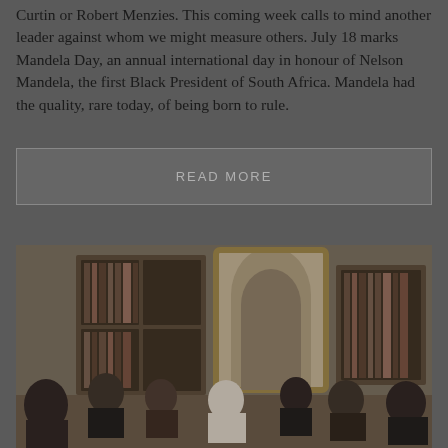Curtin or Robert Menzies. This coming week calls to mind another leader against whom we might measure others. July 18 marks Mandela Day, an annual international day in honour of Nelson Mandela, the first Black President of South Africa. Mandela had the quality, rare today, of being born to rule.
READ MORE
[Figure (photo): A group of people meeting in a formal interior room with dark wood bookshelves and a framed painting on the wall. A figure in white (appearing to be a religious leader) is seated, surrounded by several other people in a formal meeting setting.]